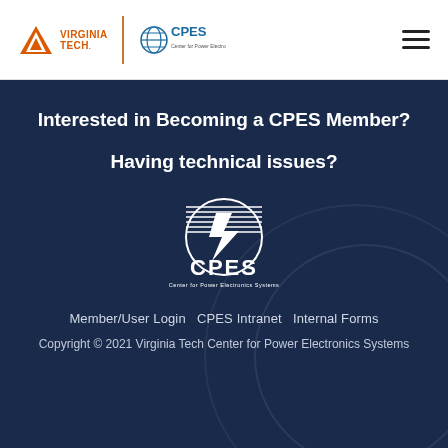[Figure (logo): Virginia Tech and CPES header logos with hamburger menu icon]
Interested in Becoming a CPES Member?
Having technical issues?
[Figure (logo): CPES — Center for Power Electronics Systems circular logo in white]
Member/User Login  CPES Intranet  Internal Forms
Copyright © 2021 Virginia Tech Center for Power Electronics Systems